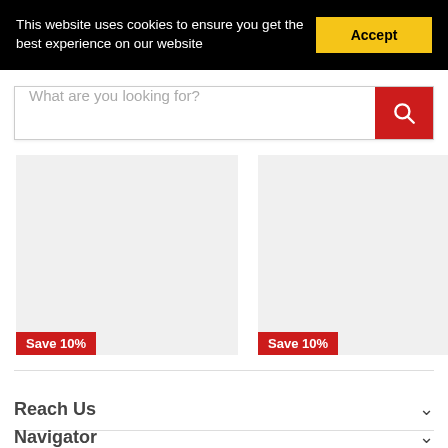This website uses cookies to ensure you get the best experience on our website
Accept
What are you looking for?
[Figure (screenshot): Two product card placeholders with light grey backgrounds, each showing a red 'Save 10%' badge at the bottom left corner.]
Reach Us
Navigator